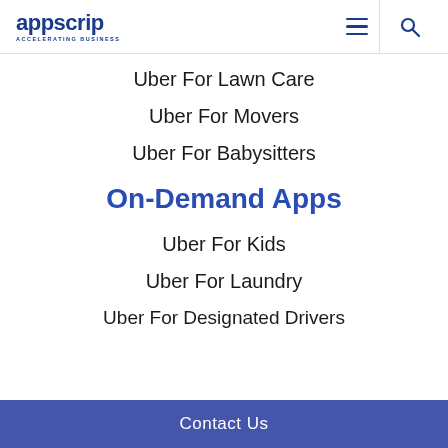appscrip ACCELERATING BUSINESS
Uber For Lawn Care
Uber For Movers
Uber For Babysitters
On-Demand Apps
Uber For Kids
Uber For Laundry
Uber For Designated Drivers
Contact Us